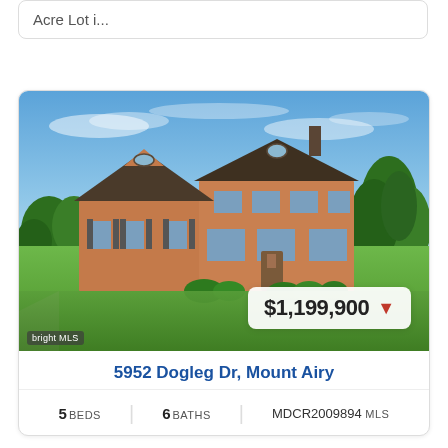Acre Lot i...
[Figure (photo): Exterior photo of a large two-story brick colonial house with a wide green lawn, blue sky, and a pond visible in the background. Price badge showing $1,199,900 with a red down arrow is overlaid on the lower right of the image.]
5952 Dogleg Dr, Mount Airy
5 BEDS   6 BATHS   MDCR2009894 MLS